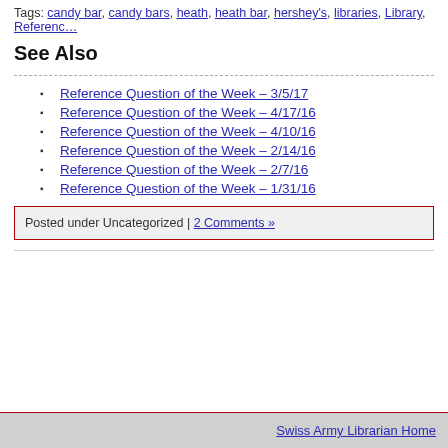Tags: candy bar, candy bars, heath, heath bar, hershey's, libraries, Library, Reference…
See Also
Reference Question of the Week – 3/5/17
Reference Question of the Week – 4/17/16
Reference Question of the Week – 4/10/16
Reference Question of the Week – 2/14/16
Reference Question of the Week – 2/7/16
Reference Question of the Week – 1/31/16
Posted under Uncategorized | 2 Comments »
Swiss Army Librarian Home